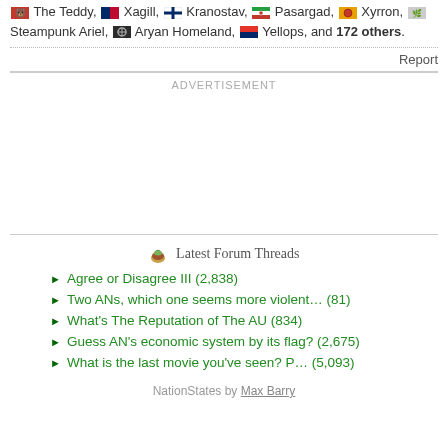The Teddy, Xagill, Kranostav, Pasargad, Xyrron, Steampunk Ariel, Aryan Homeland, Yellops, and 172 others.
Report
ADVERTISEMENT
Latest Forum Threads
Agree or Disagree III (2,838)
Two ANs, which one seems more violent… (81)
What's The Reputation of The AU (834)
Guess AN's economic system by its flag? (2,675)
What is the last movie you've seen? P… (5,093)
NationStates by Max Barry